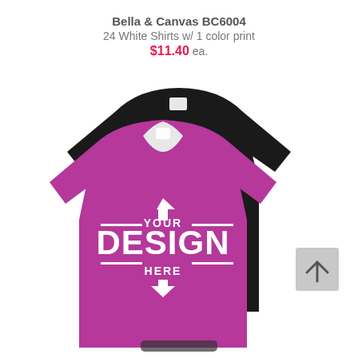Bella & Canvas BC6004
24 White Shirts w/ 1 color print
$11.40 ea.
[Figure (photo): Two v-neck t-shirts overlapping — one black in the back and one magenta/berry in the front. The front shirt has a white graphic print reading 'YOUR DESIGN HERE' with a downward arrow above and an upward arrow below. A small label tag is visible at the neckline. There is a gray scroll-to-top button in the lower right.]